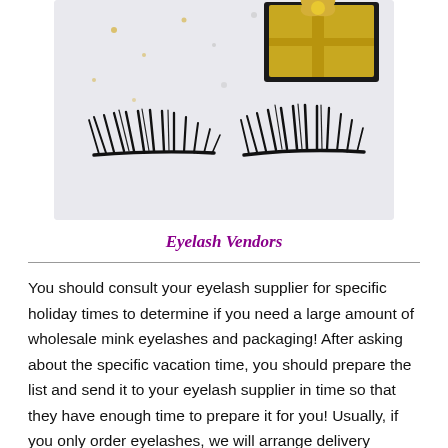[Figure (photo): Product photo of false eyelashes displayed against a light background, with a decorative black and gold gift box with ribbon in the upper right corner and sparkle/glitter accents. Two pairs of long, full, dramatic mink false eyelashes are shown in the foreground.]
Eyelash Vendors
You should consult your eyelash supplier for specific holiday times to determine if you need a large amount of wholesale mink eyelashes and packaging! After asking about the specific vacation time, you should prepare the list and send it to your eyelash supplier in time so that they have enough time to prepare it for you! Usually, if you only order eyelashes, we will arrange delivery immediately